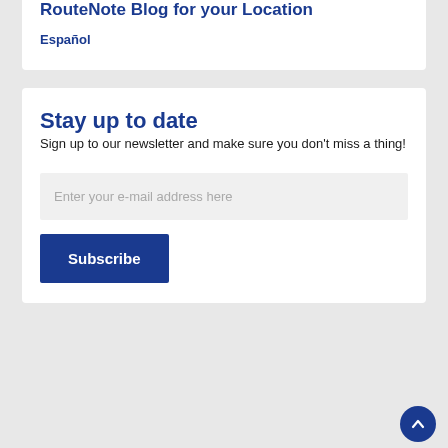RouteNote Blog for your Location
Español
Stay up to date
Sign up to our newsletter and make sure you don't miss a thing!
Enter your e-mail address here
Subscribe